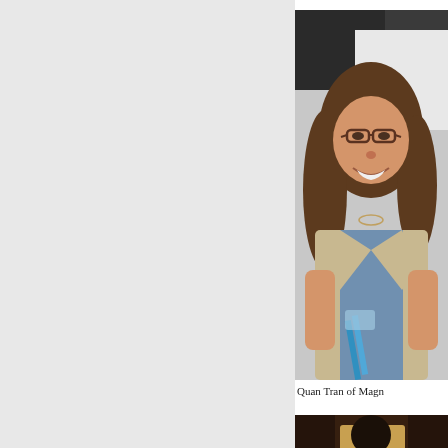[Figure (photo): Woman with long brown hair and glasses, wearing a beige blazer over a blue patterned top, smiling and holding a blue ribbon or award]
Quan Tran of Magn
[Figure (photo): Partial view of a person at the bottom of the page, partially cropped]